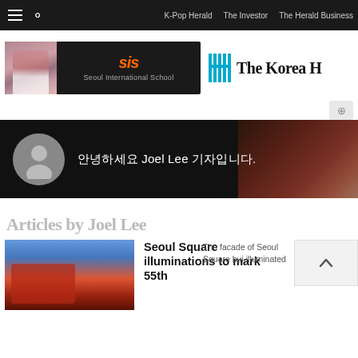K-Pop Herald   The Investor   The Herald Business
[Figure (advertisement): Seoul International School (SIS) ad banner with girl and orange SIS logo]
[Figure (logo): The Korea Herald logo with H emblem in teal and serif blackletter text]
[Figure (illustration): Small circular icon button]
[Figure (photo): Reporter profile banner: gray avatar circle, Korean greeting '안녕하세요 Joel Lee 기자입니다.' on dark background]
Articles by Joel Lee
[Figure (photo): Thumbnail photo of Seoul Square building with colorful LED facade against blue sky]
Seoul Square illuminations to mark 55th
The facade of Seoul Square bui illuminated